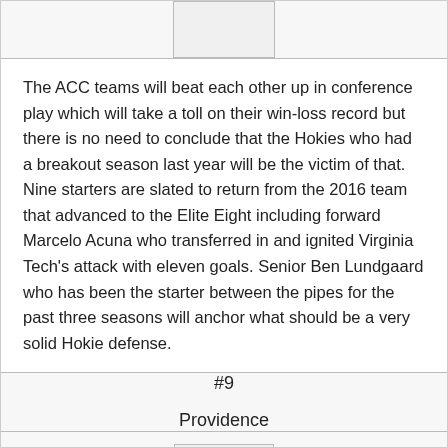[Figure (other): Placeholder image box at top center]
The ACC teams will beat each other up in conference play which will take a toll on their win-loss record but there is no need to conclude that the Hokies who had a breakout season last year will be the victim of that. Nine starters are slated to return from the 2016 team that advanced to the Elite Eight including forward Marcelo Acuna who transferred in and ignited Virginia Tech's attack with eleven goals. Senior Ben Lundgaard who has been the starter between the pipes for the past three seasons will anchor what should be a very solid Hokie defense.
#9

Providence
[Figure (other): Placeholder image box at bottom center with broken image icon]